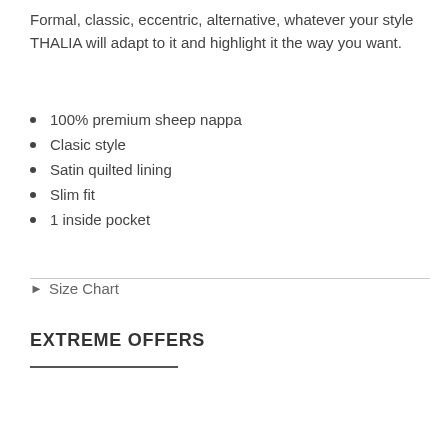Formal, classic, eccentric, alternative, whatever your style THALIA will adapt to it and highlight it the way you want.
100% premium sheep nappa
Clasic style
Satin quilted lining
Slim fit
1 inside pocket
Size Chart
EXTREME OFFERS